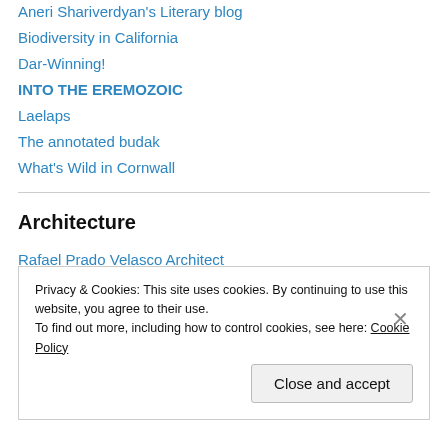Aneri Shariverdyan's Literary blog
Biodiversity in California
Dar-Winning!
INTO THE EREMOZOIC
Laelaps
The annotated budak
What's Wild in Cornwall
Architecture
Rafael Prado Velasco Architect
Privacy & Cookies: This site uses cookies. By continuing to use this website, you agree to their use.
To find out more, including how to control cookies, see here: Cookie Policy
Close and accept